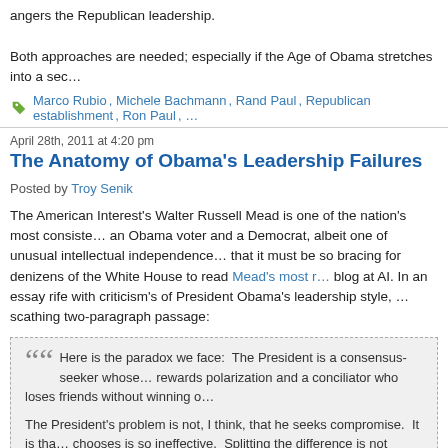angers the Republican leadership.

Both approaches are needed; especially if the Age of Obama stretches into a sec…
Marco Rubio, Michele Bachmann, Rand Paul, Republican establishment, Ron Paul, …
April 28th, 2011 at 4:20 pm
The Anatomy of Obama's Leadership Failures
Posted by Troy Senik
The American Interest's Walter Russell Mead is one of the nation's most consiste… an Obama voter and a Democrat, albeit one of unusual intellectual independence… that it must be so bracing for denizens of the White House to read Mead's most r… blog at AI. In an essay rife with criticism's of President Obama's leadership style, … scathing two-paragraph passage:
Here is the paradox we face:  The President is a consensus-seeker whose… rewards polarization and a conciliator who loses friends without winning o…

The President's problem is not, I think, that he seeks compromise.  It is tha… chooses is so ineffective.  Splitting the difference is not leadership; leaders… of two sides and finding creative new directions that give something to all… down the field.
Forget the liberal base or the intellectually capricious swing voter. If Obama can't… leaning mind as sharp as Mead's, he has serious problems going into 2012.